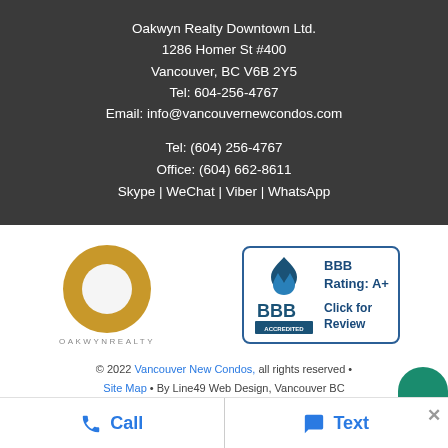Oakwyn Realty Downtown Ltd.
1286 Homer St #400
Vancouver, BC V6B 2Y5
Tel: 604-256-4767
Email: info@vancouvernewcondos.com
Tel: (604) 256-4767
Office: (604) 662-8611
Skype | WeChat | Viber | WhatsApp
[Figure (logo): Oakwyn Realty logo: gold ring/circle shape with OAKWYN REALTY text below]
[Figure (logo): BBB Accredited Business badge with BBB Rating: A+ and Click for Review text]
© 2022 Vancouver New Condos, all rights reserved • Site Map • By Line49 Web Design, Vancouver BC
Call
Text